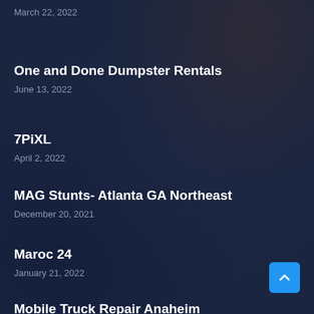March 22, 2022
One and Done Dumpster Rentals
June 13, 2022
7PiXL
April 2, 2022
MAG Stunts- Atlanta GA Northeast
December 20, 2021
Maroc 24
January 21, 2022
Mobile Truck Repair Anaheim
August 24, 2022